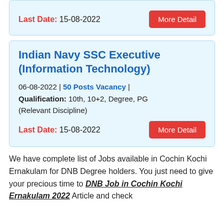Last Date: 15-08-2022
Indian Navy SSC Executive (Information Technology)
06-08-2022 | 50 Posts Vacancy | Qualification: 10th, 10+2, Degree, PG (Relevant Discipline)
Last Date: 15-08-2022
We have complete list of Jobs available in Cochin Kochi Ernakulam for DNB Degree holders. You just need to give your precious time to DNB Job in Cochin Kochi Ernakulam 2022 Article and check